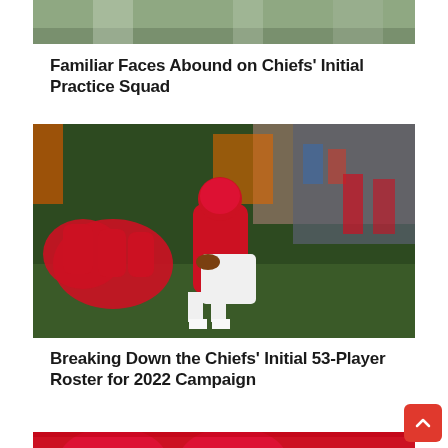[Figure (photo): Cropped top of a sports/football action photo showing players on a field, partially visible at the top of the page]
Familiar Faces Abound on Chiefs' Initial Practice Squad
[Figure (photo): Kansas City Chiefs quarterback wearing number 6 in red uniform taking a snap at the line of scrimmage during a game, with other players in red uniforms and spectators in background]
Breaking Down the Chiefs' Initial 53-Player Roster for 2022 Campaign
[Figure (photo): Kansas City Chiefs red helmets with the Chiefs arrowhead logo, partially visible at the bottom of the page]